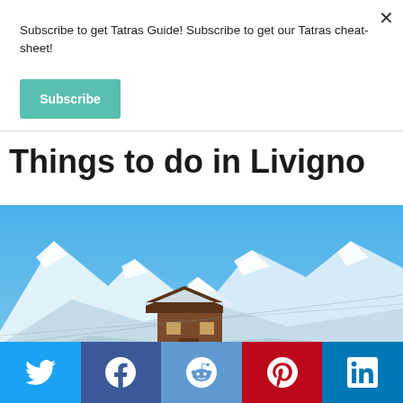Subscribe to get Tatras Guide! Subscribe to get our Tatras cheat-sheet!
Subscribe
Things to do in Livigno
[Figure (photo): Snow-covered alpine mountain landscape with a wooden chalet/hut in the foreground, blue sky, and crowds of people on the ski slopes below.]
[Figure (infographic): Social media sharing bar with Twitter, Facebook, Reddit, Pinterest, and LinkedIn icons on colored backgrounds.]